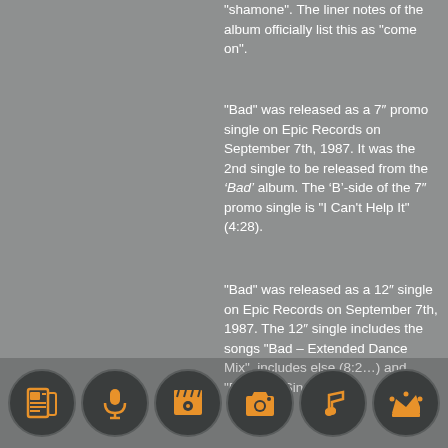“shamone”. The liner notes of the album officially list this as “come on”.
“Bad” was released as a 7″ promo single on Epic Records on September 7th, 1987. It was the 2nd single to be released from the ‘Bad’ album. The ‘B’-side of the 7″ promo single is “I Can’t Help It” (4:28).
“Bad” was released as a 12″ single on Epic Records on September 7th, 1987. The 12″ single includes the songs “Bad – Extended Dance Mix”, “Bad – Dub Version” (8:24), and “Bad – 7″ Single Mix”
[Figure (infographic): Six circular icon buttons at the bottom of the page: newspaper/radio icon, microphone icon, film clapperboard icon, camera icon, music note icon, crown icon — all orange on dark gray circles]